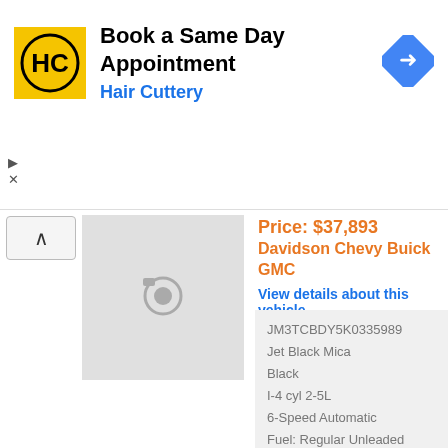[Figure (screenshot): Hair Cuttery ad banner with yellow HC logo, text 'Book a Same Day Appointment' and 'Hair Cuttery', and a blue direction sign icon]
Price: $37,893
Davidson Chevy Buick GMC
View details about this vehicle
[Figure (photo): Car image placeholder (camera icon on grey background)]
JM3TCBDY5K0335989
Jet Black Mica
Black
I-4 cyl 2-5L
6-Speed Automatic
Fuel: Regular Unleaded
View Details »
Location: Liverpool, NY 13090
2019 Mazda Mazda Cx-5 S